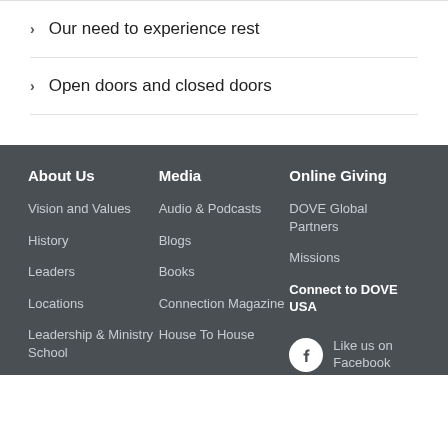Our need to experience rest
Open doors and closed doors
About Us
Media
Online Giving
Vision and Values
Audio & Podcasts
DOVE Global Partners
History
Blogs
Missions
Leaders
Books
Connect to DOVE USA
Locations
Connection Magazine
Like us on Facebook
Leadership & Ministry School
House To House